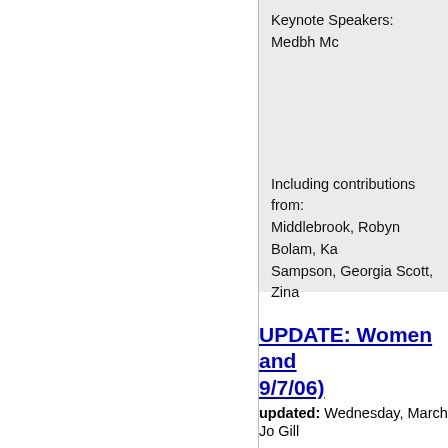Keynote Speakers: Medbh Mc
Including contributions from:
Middlebrook, Robyn Bolam, Ka
Sampson, Georgia Scott, Zina
UPDATE: Women and (9/7/06)
updated: Wednesday, March
Jo Gill
PLEASE POST REVISED CFP / D